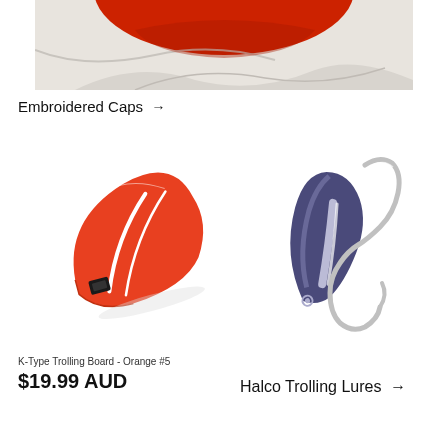[Figure (photo): Close-up photo of a red embroidered cap on a white fabric background]
Embroidered Caps →
[Figure (photo): Orange K-Type Trolling Board fishing lure with white stripe and black clip]
[Figure (photo): Silver and navy Halco trolling lure with large hook]
K-Type Trolling Board - Orange #5
$19.99 AUD
Halco Trolling Lures →